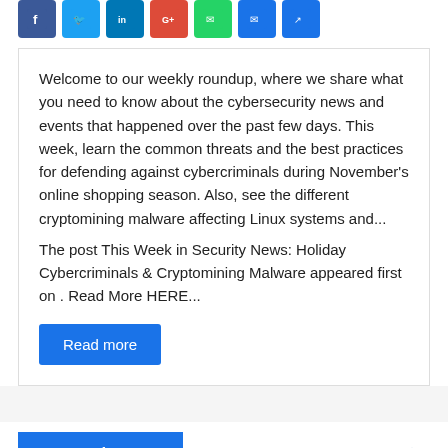[Figure (other): Row of social media share buttons: Facebook (blue), Twitter (light blue), LinkedIn (dark blue), Google+ (red), WhatsApp (green), Email (blue), Share (blue)]
Welcome to our weekly roundup, where we share what you need to know about the cybersecurity news and events that happened over the past few days. This week, learn the common threats and the best practices for defending against cybercriminals during November's online shopping season. Also, see the different cryptomining malware affecting Linux systems and...
The post This Week in Security News: Holiday Cybercriminals & Cryptomining Malware appeared first on . Read More HERE...
Read more
Newsletter
Stay updated with Cyber Security